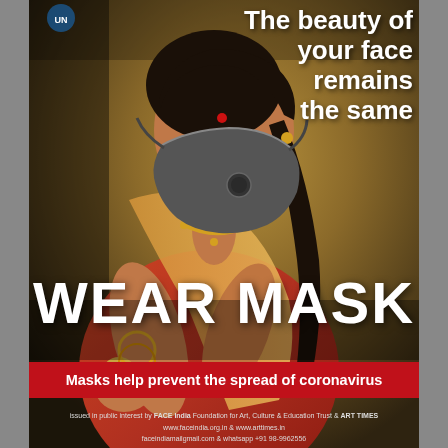[Figure (illustration): Classical Indian painting of a woman wearing a dark grey N95 face mask, holding a fruit, wearing gold jewelry and traditional attire, overlaid with COVID-19 mask awareness campaign text]
The beauty of your face remains the same
WEAR MASK
Masks help prevent the spread of coronavirus
issued in public interest by FACE India Foundation for Art, Culture & Education Trust & ART TIMES
www.faceindia.org.in & www.arttimes.in
faceindiamail@gmail.com & whatsapp +91 98-9962556